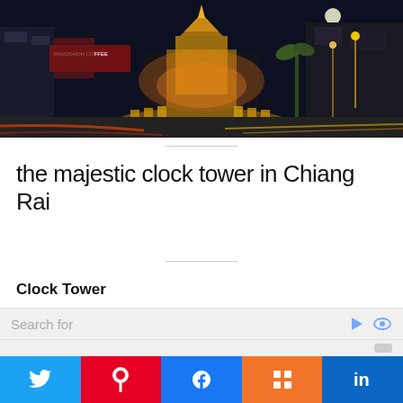[Figure (photo): Night photo of the majestic illuminated clock tower in Chiang Rai, Thailand, at a roundabout intersection with light trails from traffic and a full moon visible in the sky. Signs including 'PANGKHON COFFEE' visible in the background.]
the majestic clock tower in Chiang Rai
Clock Tower
Search for